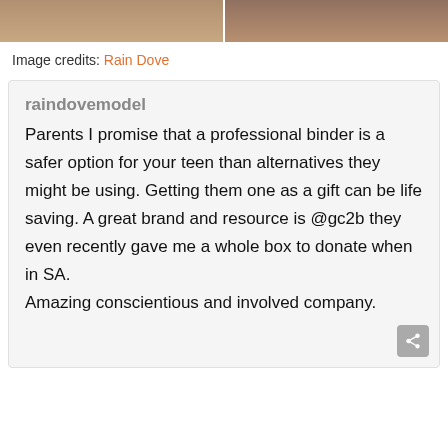[Figure (photo): Top strip showing two cropped photos side by side]
Image credits: Rain Dove
raindovemodel
Parents I promise that a professional binder is a safer option for your teen than alternatives they might be using. Getting them one as a gift can be life saving. A great brand and resource is @gc2b they even recently gave me a whole box to donate when in SA.
Amazing conscientious and involved company.